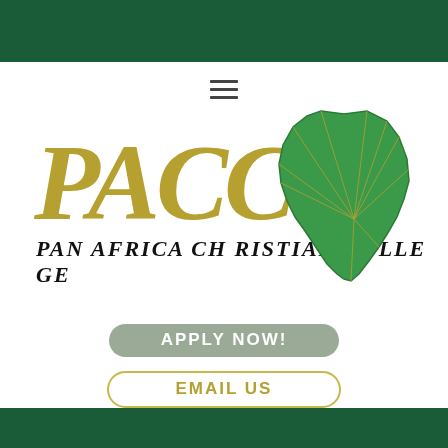[Figure (logo): PACC Pan Africa Christian College logo with gold italic PACC text and green Africa map with radiating lines]
PAN AFRICA CHRISTIAN COLLEGE
APPLY NOW!
EMAIL US